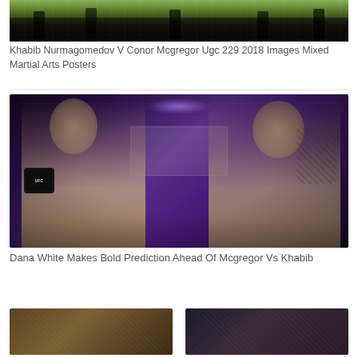[Figure (photo): Strip photo of UFC fighters/martial artists on an octagon/green floor, cropped to show legs and feet movement]
Khabib Nurmagomedov V Conor Mcgregor Ugc 229 2018 Images Mixed Martial Arts Posters
[Figure (photo): Promotional composite photo of Khabib Nurmagomedov (left, wearing UFC gloves in fighting stance) and Conor McGregor (right, arms crossed showing tattoos) against a purple arena/crowd background]
Dana White Makes Bold Prediction Ahead Of Mcgregor Vs Khabib
[Figure (photo): Two thumbnail images at bottom of page, left thumbnail appears brownish/earthy tones, right thumbnail appears darker purple/black tones]